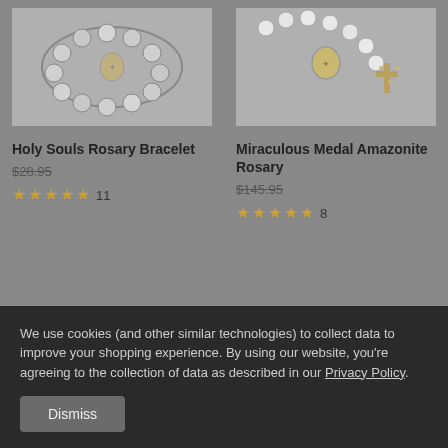[Figure (photo): Holy Souls Rosary Bracelet product photo showing a bracelet with grey/white beads and a round medal pendant]
[Figure (photo): Miraculous Medal Amazonite Rosary product photo showing white/cream beads with ornate silver cross and medal centerpiece]
Holy Souls Rosary Bracelet
$28.95
★★★★★ 11
Miraculous Medal Amazonite Rosary
$145.95
★★★★★ 8
We use cookies (and other similar technologies) to collect data to improve your shopping experience. By using our website, you're agreeing to the collection of data as described in our Privacy Policy.
Dismiss